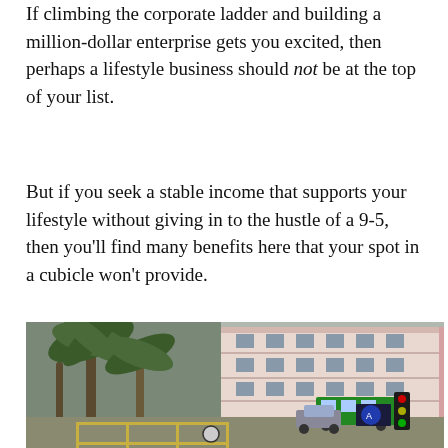If climbing the corporate ladder and building a million-dollar enterprise gets you excited, then perhaps a lifestyle business should not be at the top of your list.
But if you seek a stable income that supports your lifestyle without giving in to the hustle of a 9-5, then you'll find many benefits here that your spot in a cubicle won't provide.
[Figure (photo): Street scene with palm trees in foreground and a multi-story pink and white building in the background, with a bus and cars visible on the road and yellow grid road markings.]